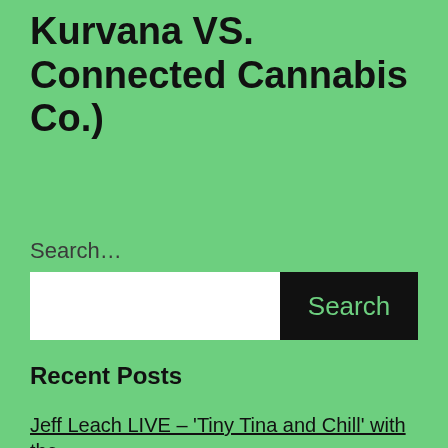Kurvana VS. Connected Cannabis Co.)
Search…
[Figure (other): Search input field with white text box and black Search button]
Recent Posts
Jeff Leach LIVE – 'Tiny Tina and Chill' with the